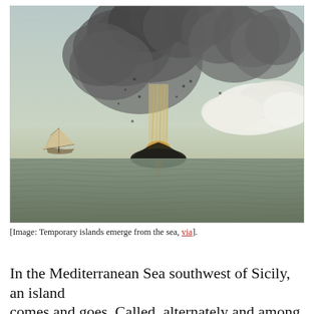[Figure (illustration): A historical painting/illustration of a volcanic eruption emerging from the sea, with a large dark smoke plume billowing upward and outward. A sailing ship is visible to the left on the calm sea. The island/volcanic vent is depicted in the center emerging from the water with streams of lava or debris shooting upward. White steam clouds extend to the right.]
[Image: Temporary islands emerge from the sea, via].
In the Mediterranean Sea southwest of Sicily, an island comes and goes. Called, alternately and among other